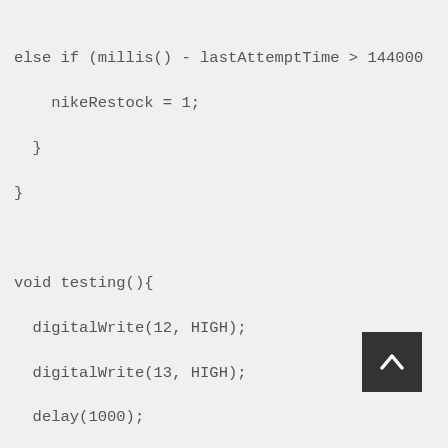else if (millis() - lastAttemptTime > 1440000
    nikeRestock = 1;
  }
}

void testing(){
  digitalWrite(12, HIGH);
  digitalWrite(13, HIGH);
  delay(1000);
  digitalWrite(12, LOW);
  digitalWrite(13, LOW);

}

void connectToServer() {
  // attempt to connect, and wait a millisecond
  Serial.println("connecting to server...");
  if (client.connect(serverName, 80)) {
    Serial.println("making HTTP reques
  // make HTTP GET request to twitter:
    client.println("GET /1/statuses/user_timeli
    client.println("HOST: api.twitter.com");